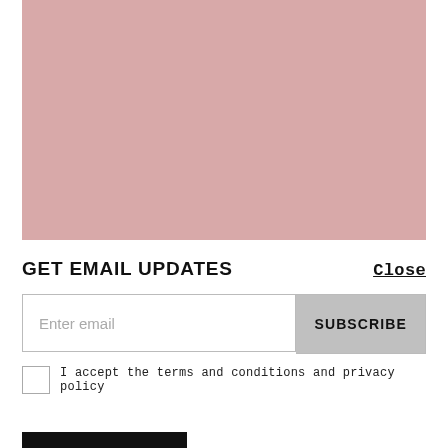Following riotous appearances at The Great Escape Festival in their hometown of Brighton and two main support slots on European dates with Royal Blood, Tigercub are pleased to
GET EMAIL UPDATES
Close
Enter email
SUBSCRIBE
I accept the terms and conditions and privacy policy